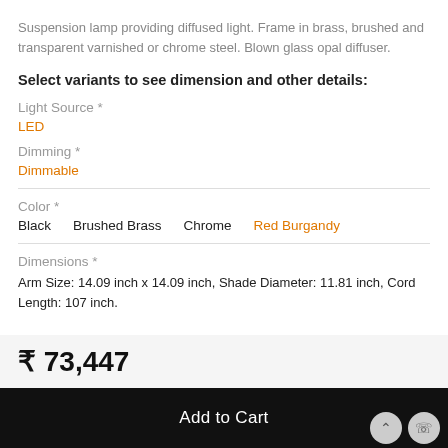Suspension lamp providing diffused light. Frame in brass, brushed and transparent varnished or chrome steel. Blown glass opal diffuser.
Select variants to see dimension and other details:
Light Source *
LED
Dimming *
Dimmable
Color *
Black   Brushed Brass   Chrome   Red Burgandy
Dimensions *
Arm Size: 14.09 inch x 14.09 inch, Shade Diameter: 11.81 inch, Cord Length: 107 inch.
₹ 73,447
Add to Cart